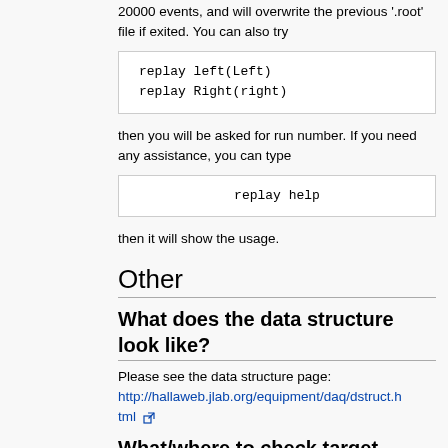20000 events, and will overwrite the previous '.root' file if exited. You can also try
replay left(Left)
replay Right(right)
then you will be asked for run number. If you need any assistance, you can type
replay help
then it will show the usage.
Other
What does the data structure look like?
Please see the data structure page: http://hallaweb.jlab.org/equipment/daq/dstruct.html
What/where to check target